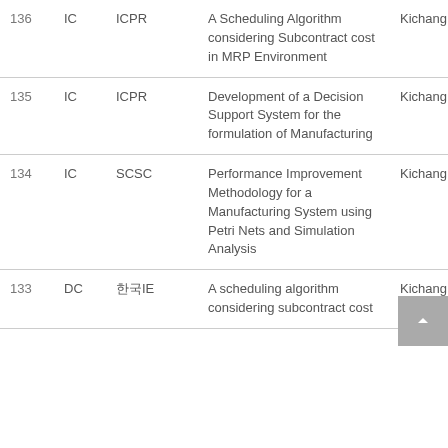| No. | Type | Conference | Title | Author |
| --- | --- | --- | --- | --- |
| 136 | IC | ICPR | A Scheduling Algorithm considering Subcontract cost in MRP Environment | Kichang Lee |
| 135 | IC | ICPR | Development of a Decision Support System for the formulation of Manufacturing | Kichang Lee |
| 134 | IC | SCSC | Performance Improvement Methodology for a Manufacturing System using Petri Nets and Simulation Analysis | Kichang Lee |
| 133 | DC | 한국IE | A scheduling algorithm considering subcontract cost | Kichang Lee |